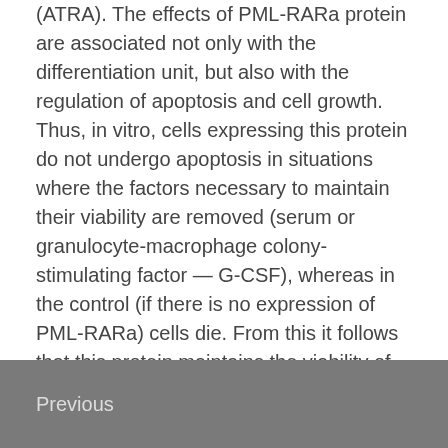(ATRA). The effects of PML-RARa protein are associated not only with the differentiation unit, but also with the regulation of apoptosis and cell growth. Thus, in vitro, cells expressing this protein do not undergo apoptosis in situations where the factors necessary to maintain their viability are removed (serum or granulocyte-macrophage colony-stimulating factor — G-CSF), whereas in the control (if there is no expression of PML-RARa) cells die. From this it follows that this protein maintains the viability of tumor cells by blocking the mechanisms of apoptosis.
Previous